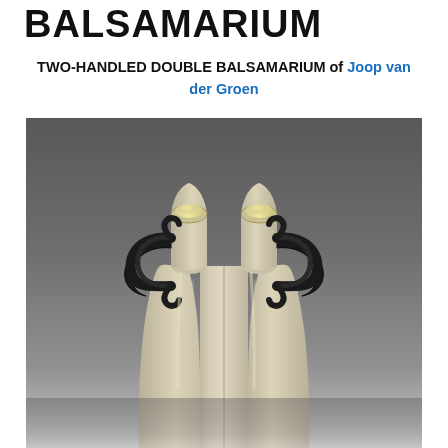BALSAMARIUM
TWO-HANDLED DOUBLE BALSAMARIUM of Joop van der Groen
[Figure (photo): Photograph of an ancient two-handled double balsamarium glass vessel against a dark grey gradient background. The vessel has two tubular necks joined together with two dark curved handles on each side.]